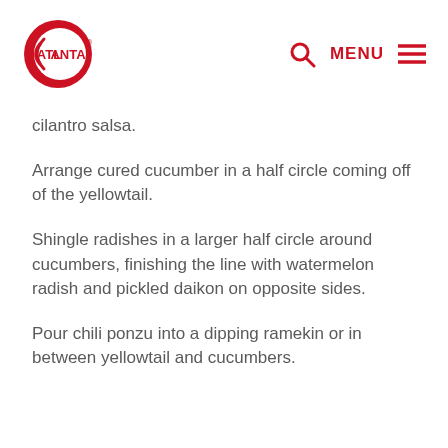Atlanta MENU
cilantro salsa.
Arrange cured cucumber in a half circle coming off of the yellowtail.
Shingle radishes in a larger half circle around cucumbers, finishing the line with watermelon radish and pickled daikon on opposite sides.
Pour chili ponzu into a dipping ramekin or in between yellowtail and cucumbers.